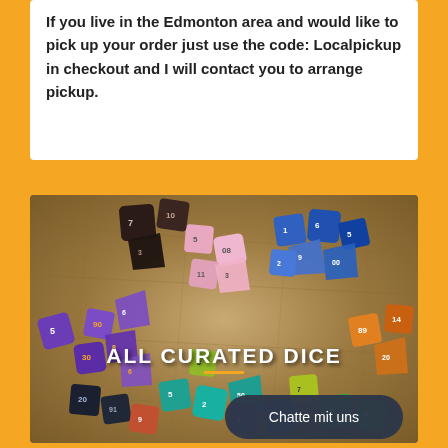If you live in the Edmonton area and would like to pick up your order just use the code: Localpickup in checkout and I will contact you to arrange pickup.
[Figure (photo): A photo of many colorful polyhedral dice (D&D/tabletop RPG dice) in various colors — purple, blue, pink, green, orange, teal — scattered on an antique map background. Text overlay reads 'ALL CURATED DICE' with an orange underline.]
Chatte mit uns